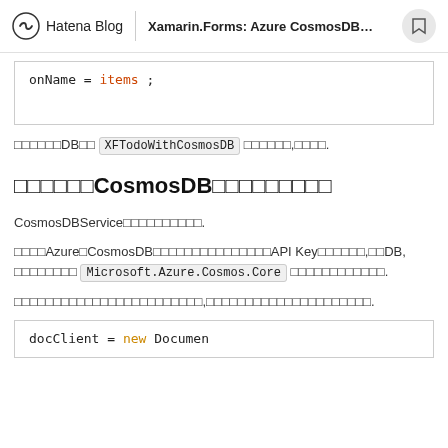Hatena Blog | Xamarin.Forms: Azure CosmosDB…
onName = items;
サンプルDBに XFTodoWithCosmosDB を設定します,次へ進みます.
□□□□□□CosmosDB□□□□□□□□□
CosmosDBService□□□□□□□□□□.
□□□□Azure□CosmosDB□□□□□□□□□□□□□□□API Key□□□□□□,□□DB, □□□□□□□□ Microsoft.Azure.Cosmos.Core □□□□□□□□□□□□.
□□□□□□□□□□□□□□□□□□□□□□□□,□□□□□□□□□□□□□□□□□□□□□.
docClient = new Documen